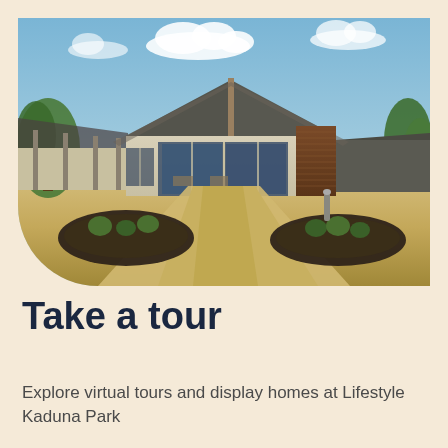[Figure (photo): Exterior photo of a large modern residential display home / community centre with a gabled roof, large glass windows, timber-clad feature wall, covered outdoor area, concrete driveway, and landscaped gardens with small shrubs and dark mulch beds under a blue sky with clouds.]
Take a tour
Explore virtual tours and display homes at Lifestyle Kaduna Park